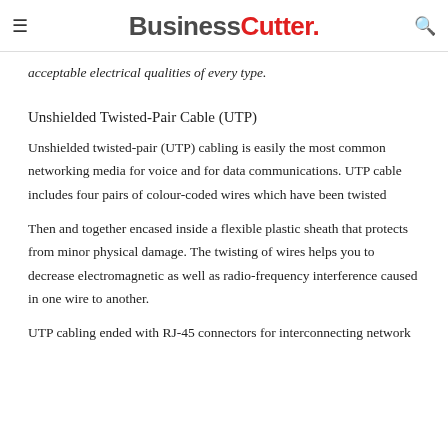BusinessCutter.
acceptable electrical qualities of every type.
Unshielded Twisted-Pair Cable (UTP)
Unshielded twisted-pair (UTP) cabling is easily the most common networking media for voice and for data communications. UTP cable includes four pairs of colour-coded wires which have been twisted
Then and together encased inside a flexible plastic sheath that protects from minor physical damage. The twisting of wires helps you to decrease electromagnetic as well as radio-frequency interference caused in one wire to another.
UTP cabling ended with RJ-45 connectors for interconnecting network